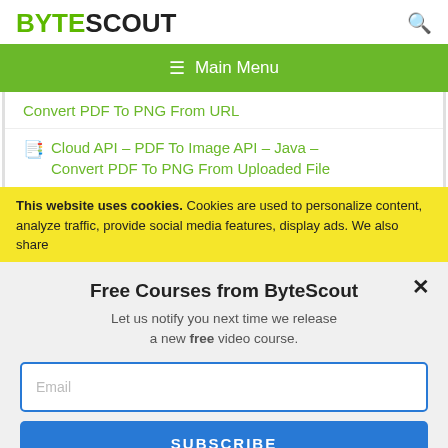BYTESCOUT
≡  Main Menu
Convert PDF To PNG From URL
Cloud API – PDF To Image API – Java – Convert PDF To PNG From Uploaded File
This website uses cookies. Cookies are used to personalize content, analyze traffic, provide social media features, display ads. We also share
Free Courses from ByteScout
Let us notify you next time we release a new free video course.
Email
SUBSCRIBE